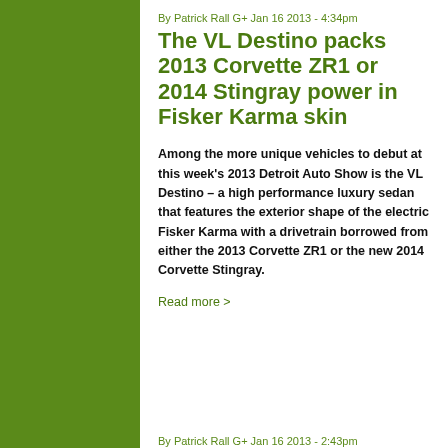By Patrick Rall G+ Jan 16 2013 - 4:34pm
The VL Destino packs 2013 Corvette ZR1 or 2014 Stingray power in Fisker Karma skin
Among the more unique vehicles to debut at this week's 2013 Detroit Auto Show is the VL Destino – a high performance luxury sedan that features the exterior shape of the electric Fisker Karma with a drivetrain borrowed from either the 2013 Corvette ZR1 or the new 2014 Corvette Stingray.
Read more >
By Patrick Rall G+ Jan 16 2013 - 2:43pm
The 2013 Ram 1500...